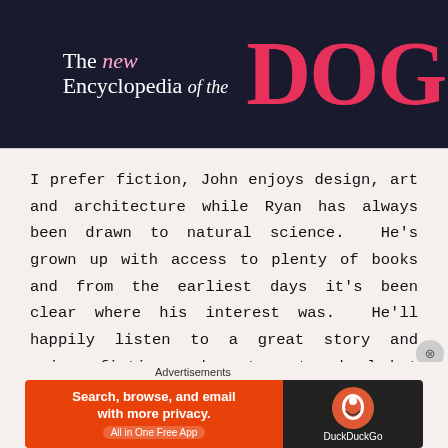[Figure (photo): Book cover image of 'The new Encyclopedia of the DOG' on dark background. 'DOG' appears in large pink/red letters.]
I prefer fiction, John enjoys design, art and architecture while Ryan has always been drawn to natural science.  He's grown up with access to plenty of books and from the earliest days it's been clear where his interest was.  He'll happily listen to a great story and enjoys fiction and poetry at school but when he sits down with free time and a book of his choice it's usually non-
Advertisements
[Figure (screenshot): DuckDuckGo advertisement banner. Orange section on left reads 'Search, browse, and email with more privacy. All in One Free App'. Dark section on right shows DuckDuckGo logo and name.]